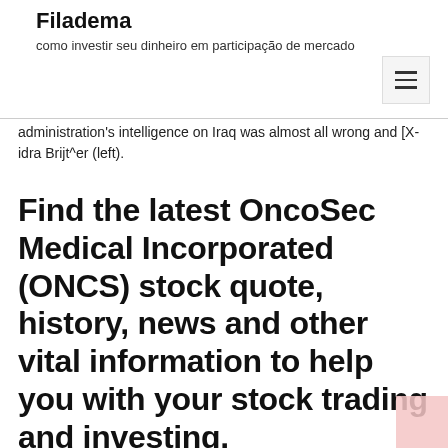Filadema
como investir seu dinheiro em participação de mercado
administration's intelligence on Iraq was almost all wrong and [X-idra Brijt^er (left).
Find the latest OncoSec Medical Incorporated (ONCS) stock quote, history, news and other vital information to help you with your stock trading and investing.